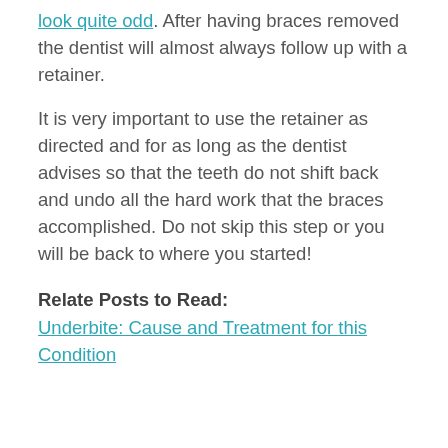look quite odd. After having braces removed the dentist will almost always follow up with a retainer.
It is very important to use the retainer as directed and for as long as the dentist advises so that the teeth do not shift back and undo all the hard work that the braces accomplished. Do not skip this step or you will be back to where you started!
Relate Posts to Read:
Underbite: Cause and Treatment for this Condition